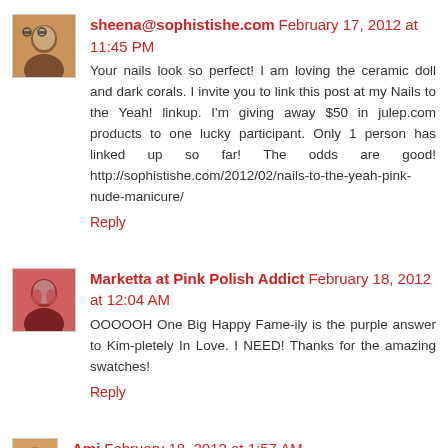[Figure (photo): Avatar photo of sheena - woman with glasses smiling]
sheena@sophistishe.com February 17, 2012 at 11:45 PM
Your nails look so perfect! I am loving the ceramic doll and dark corals. I invite you to link this post at my Nails to the Yeah! linkup. I'm giving away $50 in julep.com products to one lucky participant. Only 1 person has linked up so far! The odds are good! http://sophistishe.com/2012/02/nails-to-the-yeah-pink-nude-manicure/
Reply
[Figure (photo): Avatar photo of Marketta - nails painted pink]
Marketta at Pink Polish Addict February 18, 2012 at 12:04 AM
OOOOOH One Big Happy Fame-ily is the purple answer to Kim-pletely In Love. I NEED! Thanks for the amazing swatches!
Reply
[Figure (photo): Avatar photo of Ami - partial view]
Ami February 18, 2012 at 1:57 AM